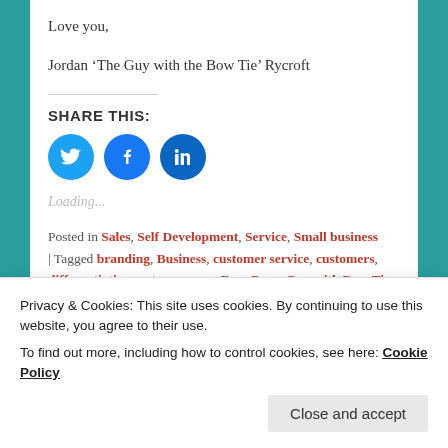Love you,
Jordan ‘The Guy with the Bow Tie’ Rycroft
SHARE THIS:
[Figure (other): Three circular social media share buttons: Twitter (blue bird icon), Facebook (blue f icon), LinkedIn (blue in icon)]
Loading...
Posted in Sales, Self Development, Service, Small business | Tagged branding, Business, customer service, customers, differentiation, entrepreneur, Ever Rose, Guy with Bow Tie
Privacy & Cookies: This site uses cookies. By continuing to use this website, you agree to their use.
To find out more, including how to control cookies, see here: Cookie Policy
Close and accept